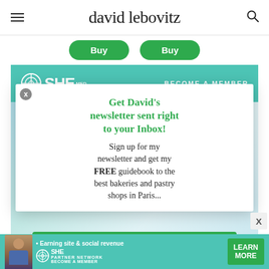david lebovitz
[Figure (screenshot): Two green Buy buttons visible at top]
[Figure (screenshot): SHE Media teal banner with BECOME A MEMBER text and SHE logo]
[Figure (screenshot): Newsletter signup modal popup with close X button, headline in green and body text in dark]
Get David's newsletter sent right to your Inbox!
Sign up for my newsletter and get my FREE guidebook to the best bakeries and pastry shops in Paris...
[Figure (screenshot): Green Click HERE button partially visible at bottom of modal]
[Figure (screenshot): Bottom SHE Media advertisement banner with woman photo, Earning site & social revenue text, SHE PARTNER NETWORK BECOME A MEMBER logo, and LEARN MORE green button]